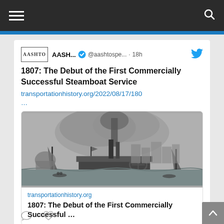≡   [AASHTO website header]   🔍
[Figure (screenshot): Tweet from AASHTO account (@aashtospe...) posted 18h ago with Twitter bird icon. Content: '1807: The Debut of the First Commercially Successful Steamboat Service' with link transportationhistory.org/2022/08/17/180... and a link preview card showing a historical engraving of a steamboat on a river with a city in the background, domain label 'transportationhistory.org' and title '1807: The Debut of the First Commercially Successful ...']